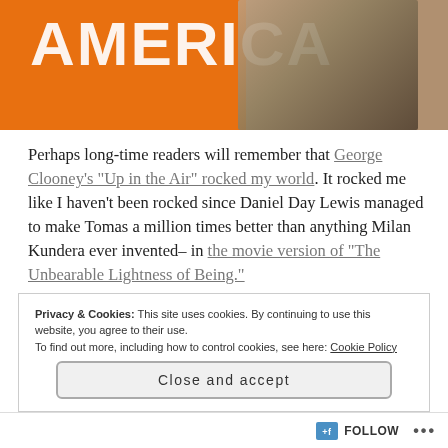[Figure (photo): Cropped image of a book or movie poster with large white text reading 'AMERICA' on an orange background, with a sepia-toned figure on the right side]
Perhaps long-time readers will remember that George Clooney's “Up in the Air” rocked my world. It rocked me like I haven’t been rocked since Daniel Day Lewis managed to make Tomas a million times better than anything Milan Kundera ever invented–in the movie version of “The Unbearable Lightness of Being.”
Privacy & Cookies: This site uses cookies. By continuing to use this website, you agree to their use.
To find out more, including how to control cookies, see here: Cookie Policy
Close and accept
FOLLOW ...